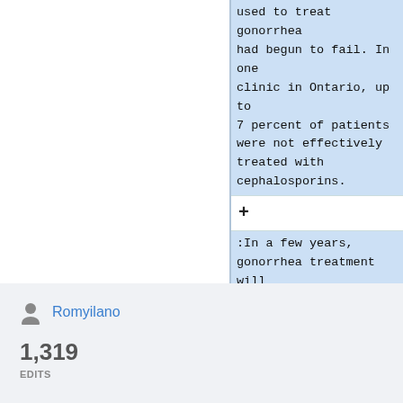used to treat gonorrhea had begun to fail. In one clinic in Ontario, up to 7 percent of patients were not effectively treated with cephalosporins.
+
:In a few years, gonorrhea treatment will cease to be a simple process. Kicking an infection may require
Romyilano
1,319 EDITS